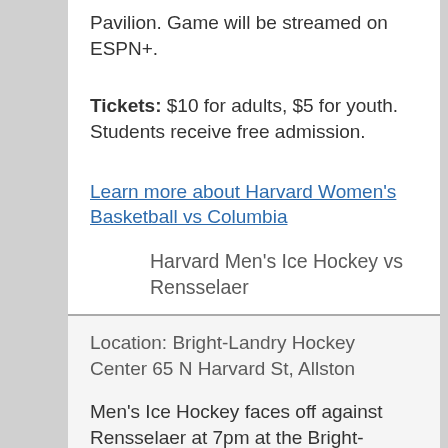Pavilion. Game will be streamed on ESPN+.
Tickets: $10 for adults, $5 for youth. Students receive free admission.
Learn more about Harvard Women's Basketball vs Columbia
Harvard Men's Ice Hockey vs Rensselaer
Location: Bright-Landry Hockey Center 65 N Harvard St, Allston
Men's Ice Hockey faces off against Rensselaer at 7pm at the Bright-Landry Hockey Center. This will also